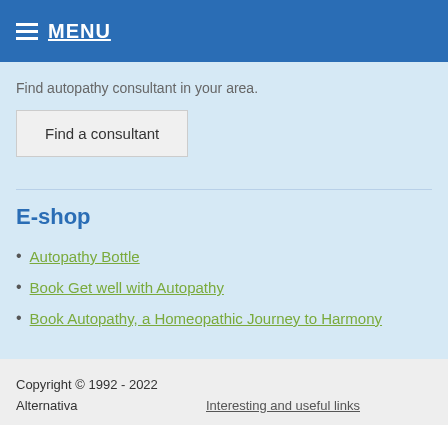MENU
Find autopathy consultant in your area.
Find a consultant
E-shop
Autopathy Bottle
Book Get well with Autopathy
Book Autopathy, a Homeopathic Journey to Harmony
Copyright © 1992 - 2022
Alternativa    Interesting and useful links